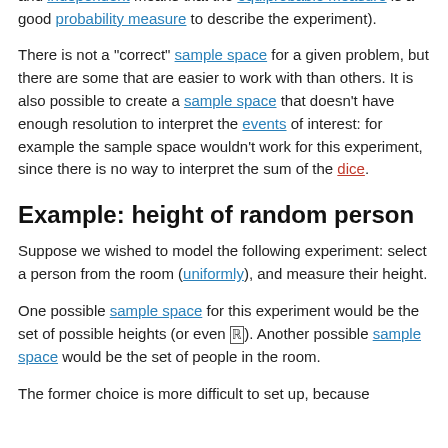with the second (for the second, the fact that the dice are fair and independent means that the equiprobable measure is a good probability measure to describe the experiment).
There is not a "correct" sample space for a given problem, but there are some that are easier to work with than others. It is also possible to create a sample space that doesn't have enough resolution to interpret the events of interest: for example the sample space wouldn't work for this experiment, since there is no way to interpret the sum of the dice.
Example: height of random person
Suppose we wished to model the following experiment: select a person from the room (uniformly), and measure their height.
One possible sample space for this experiment would be the set of possible heights (or even ℝ). Another possible sample space would be the set of people in the room.
The former choice is more difficult to set up, because